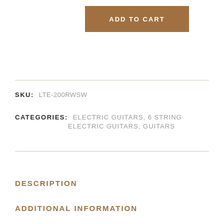[Figure (other): ADD TO CART button — brown/tan colored rectangular button with white uppercase bold text]
SKU: LTE-200RWSW
CATEGORIES: ELECTRIC GUITARS, 6 STRING ELECTRIC GUITARS, GUITARS
DESCRIPTION
ADDITIONAL INFORMATION